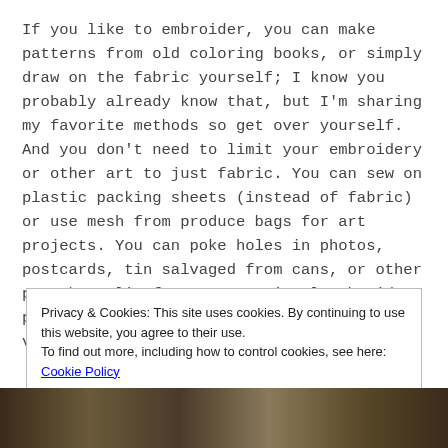If you like to embroider, you can make patterns from old coloring books, or simply draw on the fabric yourself; I know you probably already know that, but I'm sharing my favorite methods so get over yourself. And you don't need to limit your embroidery or other art to just fabric. You can sew on plastic packing sheets (instead of fabric) or use mesh from produce bags for art projects. You can poke holes in photos, postcards, tin salvaged from cans, or other paraphernalia for unconventional embroidery projects. Again, YouTube instructional videos are
Privacy & Cookies: This site uses cookies. By continuing to use this website, you agree to their use.
To find out more, including how to control cookies, see here: Cookie Policy
Close and accept
[Figure (photo): A photo strip at the bottom of the page showing craft/food items, partially visible]